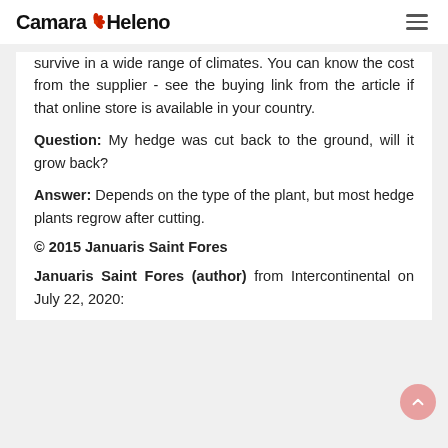Camara Heleno
survive in a wide range of climates. You can know the cost from the supplier - see the buying link from the article if that online store is available in your country.
Question: My hedge was cut back to the ground, will it grow back?
Answer: Depends on the type of the plant, but most hedge plants regrow after cutting.
© 2015 Januaris Saint Fores
Januaris Saint Fores (author) from Intercontinental on July 22, 2020: